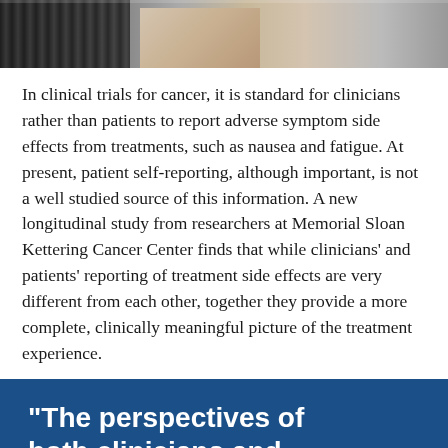[Figure (photo): Partial photo of a person (clinician) sitting at a desk, wearing a floral tie and white shirt, with a keyboard visible on the left side.]
In clinical trials for cancer, it is standard for clinicians rather than patients to report adverse symptom side effects from treatments, such as nausea and fatigue. At present, patient self-reporting, although important, is not a well studied source of this information. A new longitudinal study from researchers at Memorial Sloan Kettering Cancer Center finds that while clinicians' and patients' reporting of treatment side effects are very different from each other, together they provide a more complete, clinically meaningful picture of the treatment experience.
“The perspectives of both clinicians and